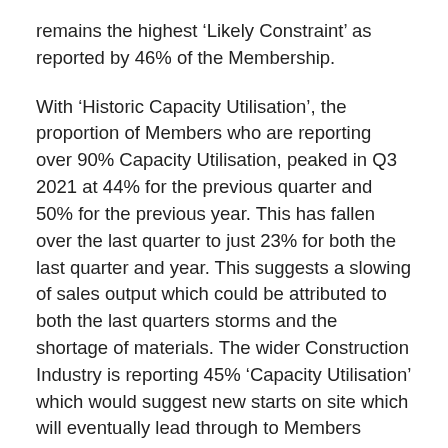remains the highest 'Likely Constraint' as reported by 46% of the Membership.
With 'Historic Capacity Utilisation', the proportion of Members who are reporting over 90% Capacity Utilisation, peaked in Q3 2021 at 44% for the previous quarter and 50% for the previous year. This has fallen over the last quarter to just 23% for both the last quarter and year. This suggests a slowing of sales output which could be attributed to both the last quarters storms and the shortage of materials. The wider Construction Industry is reporting 45% 'Capacity Utilisation' which would suggest new starts on site which will eventually lead through to Members sales.
Expected Capacity Utilisation by CAB Members is cautious with only 38% forecasting over 90% Capacity Utilisation for the month and year ahead. With the wider Construction